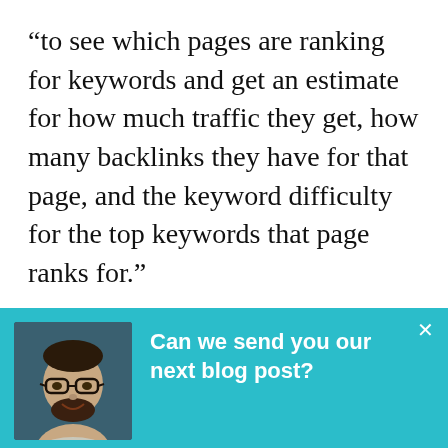“to see which pages are ranking for keywords and get an estimate for how much traffic they get, how many backlinks they have for that page, and the keyword difficulty for the top keywords that page ranks for.”
[Figure (photo): Headshot of a man with glasses and beard wearing a light grey shirt, against a dark teal background]
Can we send you our next blog post?
We'll send you about 3-4 emails a month. Only the best stuff.
Subscribe to the blog